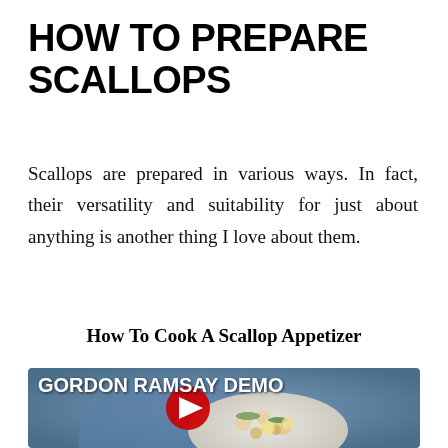HOW TO PREPARE SCALLOPS
Scallops are prepared in various ways. In fact, their versatility and suitability for just about anything is another thing I love about them.
How To Cook A Scallop Appetizer
[Figure (photo): Video thumbnail showing a Gordon Ramsay demo with a plate of scallop appetizer and a YouTube play button overlay. Text reads 'GORDON RAMSAY DEMO'.]